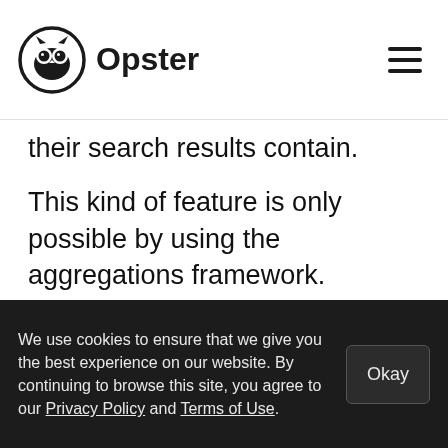Opster
their search results contain.
This kind of feature is only possible by using the aggregations framework.
Other examples of uses of the aggregations framework include the following:
Average load time of a website
We use cookies to ensure that we give you the best experience on our website. By continuing to browse this site, you agree to our Privacy Policy and Terms of Use.